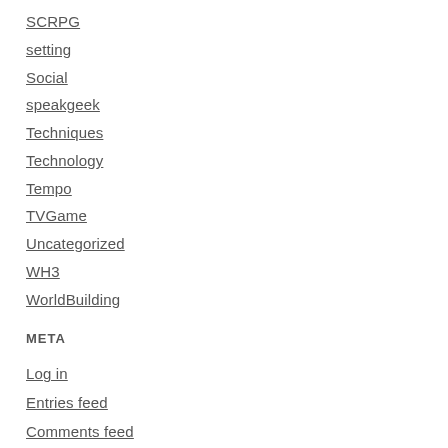SCRPG
setting
Social
speakgeek
Techniques
Technology
Tempo
TVGame
Uncategorized
WH3
WorldBuilding
META
Log in
Entries feed
Comments feed
WordPress.org